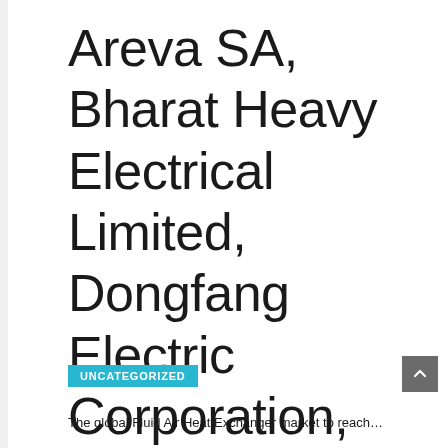Areva SA, Bharat Heavy Electrical Limited, Dongfang Electric Corporation, Larsen&Toubro, Mitsubishi Heavy Industries
UNCATEGORIZED
The global Fluid Air Heat Exchanger market to reach...